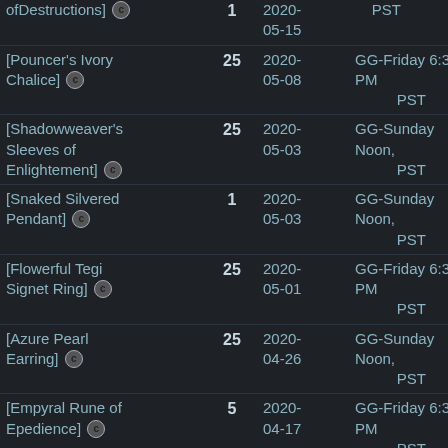| Item | Qty | Date | Event |  |
| --- | --- | --- | --- | --- |
| [Shoes ofDestructions] | 1 | 2020-05-15 | PST | GG- |
| [Pouncer's Ivory Chalice] | 25 | 2020-05-08 | GG-Friday 6:30 PM PST | GG-F |
| [Shadowweaver's Sleeves of Enlightement] | 25 | 2020-05-03 | GG-Sunday Noon, PST | GG-Su |
| [Snaked Silvered Pendant] | 1 | 2020-05-03 | GG-Sunday Noon, PST | GG-Su |
| [Flowerful Tegi Signet Ring] | 25 | 2020-05-01 | GG-Friday 6:30 PM PST | GG-F |
| [Azure Pearl Earring] | 25 | 2020-04-26 | GG-Sunday Noon, PST | GG-Su |
| [Empyral Rune of Epedience] | 5 | 2020-04-17 | GG-Friday 6:30 PM PST | GG-F |
| [Shadownborn Leather Guantlets of Enlightenment] | 5 | 2020-04-17 | GG-Friday 6:30 PM PST | GG-F |